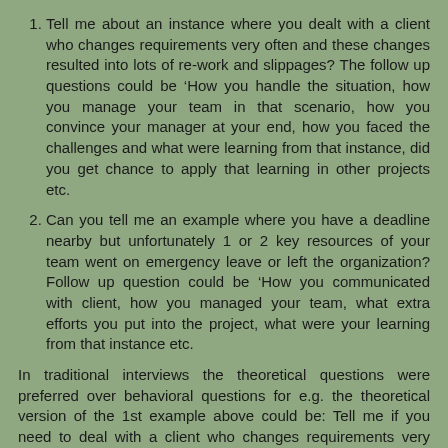Tell me about an instance where you dealt with a client who changes requirements very often and these changes resulted into lots of re-work and slippages? The follow up questions could be ‘How you handle the situation, how you manage your team in that scenario, how you convince your manager at your end, how you faced the challenges and what were learning from that instance, did you get chance to apply that learning in other projects etc.
Can you tell me an example where you have a deadline nearby but unfortunately 1 or 2 key resources of your team went on emergency leave or left the organization? Follow up question could be ‘How you communicated with client, how you managed your team, what extra efforts you put into the project, what were your learning from that instance etc.
In traditional interviews the theoretical questions were preferred over behavioral questions for e.g. the theoretical version of the 1st example above could be: Tell me if you need to deal with a client who changes requirements very often which may result in lots of re-work and slippages, how